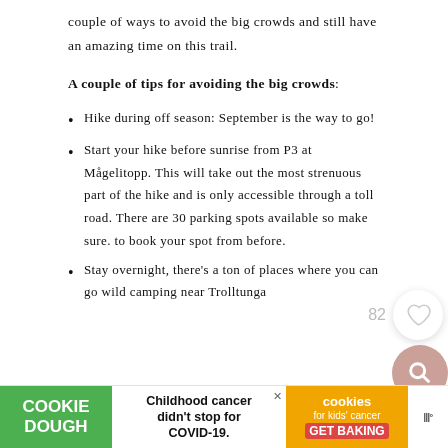couple of ways to avoid the big crowds and still have an amazing time on this trail.
A couple of tips for avoiding the big crowds:
Hike during off season: September is the way to go!
Start your hike before sunrise from P3 at Mågelitopp. This will take out the most strenuous part of the hike and is only accessible through a toll road. There are 30 parking spots available so make sure. to book your spot from before.
Stay overnight, there's a ton of places where you can go wild camping near Trolltunga
[Figure (screenshot): Cookie Dough advertisement banner at bottom of page: green section with COOKIE DOUGH text, center section with 'Childhood cancer didn't stop for COVID-19.', orange section with cookies for kids' cancer GET BAKING, and a close button X]